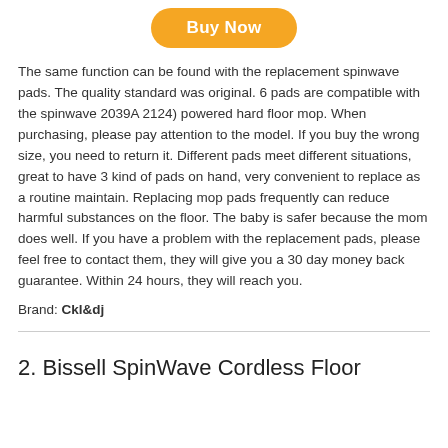[Figure (other): Orange 'Buy Now' rounded button at the top center of the page]
The same function can be found with the replacement spinwave pads. The quality standard was original. 6 pads are compatible with the spinwave 2039A 2124) powered hard floor mop. When purchasing, please pay attention to the model. If you buy the wrong size, you need to return it. Different pads meet different situations, great to have 3 kind of pads on hand, very convenient to replace as a routine maintain. Replacing mop pads frequently can reduce harmful substances on the floor. The baby is safer because the mom does well. If you have a problem with the replacement pads, please feel free to contact them, they will give you a 30 day money back guarantee. Within 24 hours, they will reach you.
Brand: Ckl&dj
2. Bissell SpinWave Cordless Floor